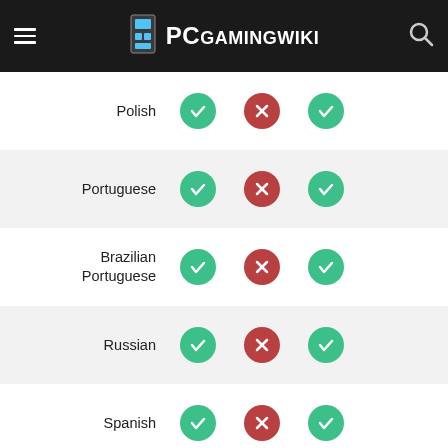PCGamingWiki
| Language | Col1 | Col2 | Col3 |
| --- | --- | --- | --- |
| Polish | ✔ | ✘ | ✔ |
| Portuguese | ✔ | ✘ | ✔ |
| Brazilian Portuguese | ✔ | ✘ | ✔ |
| Russian | ✔ | ✘ | ✔ |
| Spanish | ✔ | ✘ | ✔ |
| Latin American Spanish | ✔ | ✘ | ✔ |
| Swedish | ✔ | ✘ | ✔ |
| Thai | ✔ | ✘ | ✔ |
| Turkish | ✔ | ✘ | ✔ |